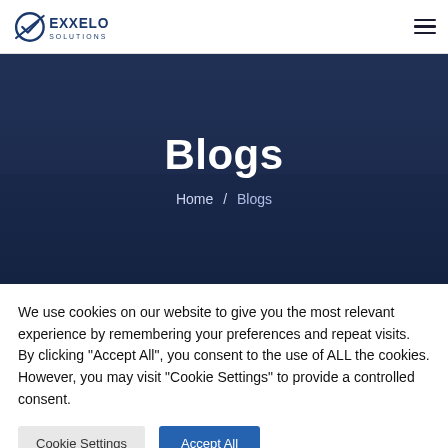[Figure (logo): Exxelo Solutions logo with checkmark icon and company name in dark blue]
[Figure (other): Hamburger menu icon with three horizontal lines]
[Figure (photo): Dark overlay hero image showing hands typing on a laptop keyboard]
Blogs
Home / Blogs
We use cookies on our website to give you the most relevant experience by remembering your preferences and repeat visits. By clicking "Accept All", you consent to the use of ALL the cookies. However, you may visit "Cookie Settings" to provide a controlled consent.
Cookie Settings
Accept All